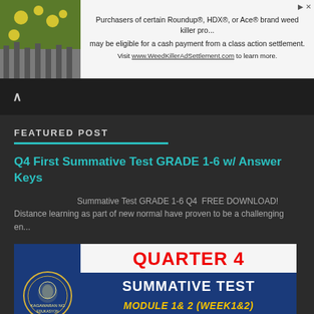[Figure (screenshot): Advertisement banner for WeedKillerAdSettlement.com with plant image on left and text on right]
Purchasers of certain Roundup®, HDX®, or Ace® brand weed killer pro... may be eligible for a cash payment from a class action settlement. Visit www.WeedKillerAdSettlement.com to learn more.
FEATURED POST
Q4 First Summative Test GRADE 1-6 w/ Answer Keys
Summative Test GRADE 1-6 Q4  FREE DOWNLOAD! Distance learning as part of new normal have proven to be a challenging en...
[Figure (illustration): Quarter 4 Summative Test Module 1 & 2 (Week 1 & 2) All Subjects thumbnail image with DepEd seal]